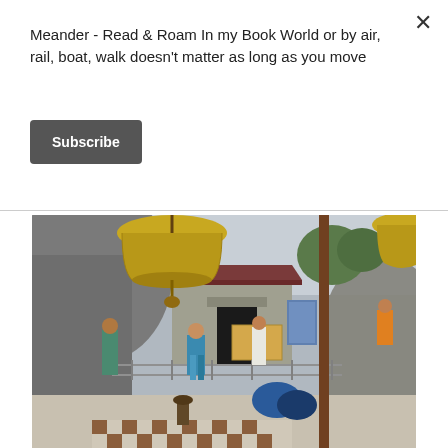×
Meander - Read & Roam In my Book World or by air, rail, boat, walk doesn't matter as long as you move
Subscribe
[Figure (photo): Outdoor photograph of an Indian temple with large bronze bells hanging in the foreground, a small stone shrine building with a red tile roof in the background, and several visitors in colorful clothing near the entrance. A checkered tile floor is visible at the bottom, and large rocks flank the temple structure.]